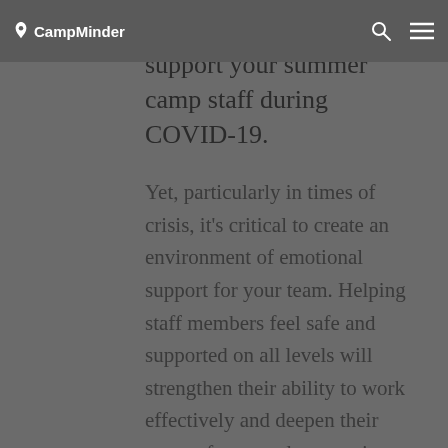CampMinder
time to focus on how to support your summer camp staff during COVID-19.
Yet, particularly in times of crisis, it’s critical to create an environment of emotional support for your team. Helping staff members feel safe and supported on all levels will strengthen their ability to work effectively and deepen their sense of trust and connection with you as their employer. This creates a level of loyalty and engagement that will benefit your team members, your…